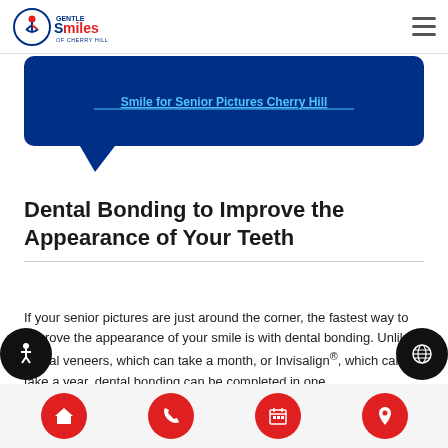[Figure (logo): Gentle Smiles of Cherry Hill logo with figure and text]
[Figure (other): Dark blue speech bubble with link text 'Smile for Senior Pictures Cherry Hill']
Dental Bonding to Improve the Appearance of Your Teeth
If your senior pictures are just around the corner, the fastest way to improve the appearance of your smile is with dental bonding. Unlike dental veneers, which can take a month, or Invisalign®, which can take a year, dental bonding can be completed in one
[Figure (other): Bottom navigation bar with four red circular buttons: home, phone, calendar, location pin]